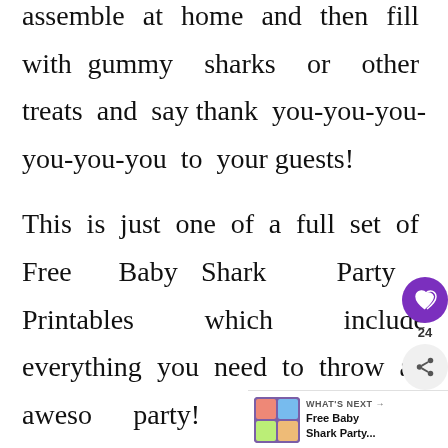assemble at home and then fill with gummy sharks or other treats and say thank you-you-you-you-you-you to your guests!
This is just one of a full set of Free Baby Shark Party Printables which include everything you need to throw an awesome party!